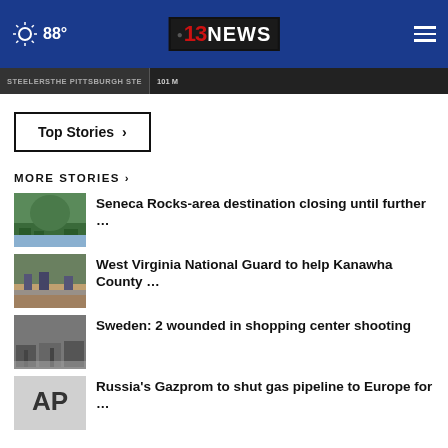88° | 13NEWS
STEELERS | 101 M
Top Stories ›
MORE STORIES ›
Seneca Rocks-area destination closing until further …
West Virginia National Guard to help Kanawha County …
Sweden: 2 wounded in shopping center shooting
Russia's Gazprom to shut gas pipeline to Europe for …